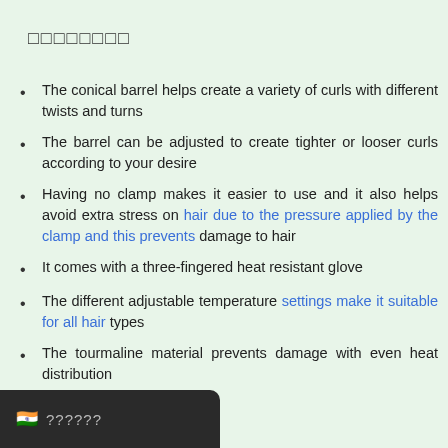□□□□□□□□
The conical barrel helps create a variety of curls with different twists and turns
The barrel can be adjusted to create tighter or looser curls according to your desire
Having no clamp makes it easier to use and it also helps avoid extra stress on hair due to the pressure applied by the clamp and this prevents damage to hair
It comes with a three-fingered heat resistant glove
The different adjustable temperature settings make it suitable for all hair types
The tourmaline material prevents damage with even heat distribution
🇮🇳 ??????